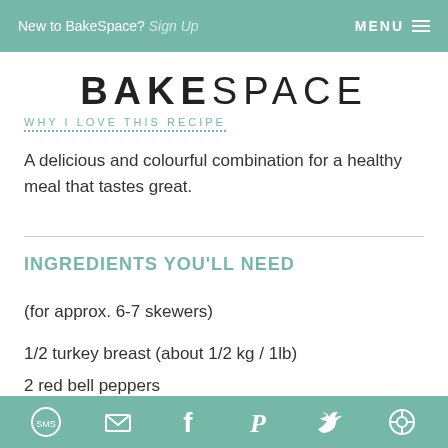New to BakeSpace? Sign Up   MENU
BAKESPACE
WHY I LOVE THIS RECIPE
A delicious and colourful combination for a healthy meal that tastes great.
INGREDIENTS YOU'LL NEED
(for approx. 6-7 skewers)
1/2 turkey breast (about 1/2 kg / 1lb)
2 red bell peppers
2 zucchini
SMS  Email  Facebook  Pinterest  Twitter  Other